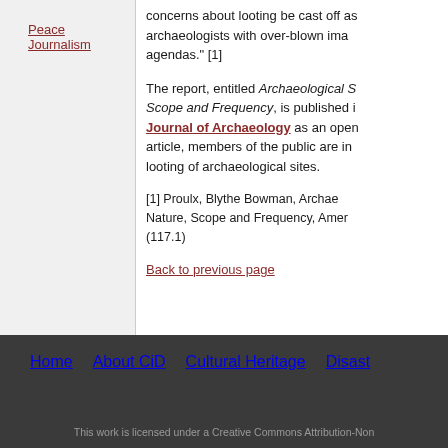Peace Journalism
concerns about looting be cast off as archaeologists with over-blown images agendas." [1]
The report, entitled Archaeological S... Scope and Frequency, is published i... Journal of Archaeology as an open article, members of the public are in... looting of archaeological sites.
[1] Proulx, Blythe Bowman, Archae... Nature, Scope and Frequency, Amer... (117.1)
Back to previous page
Home   About CiD   Cultural Heritage   Disast...   This work is licensed under a Creative Commons Attribution-Non...